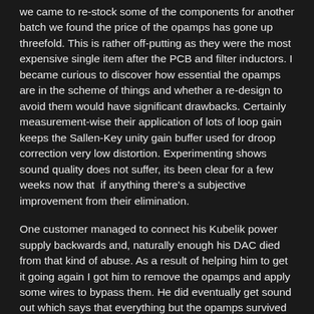we came to re-stock some of the components for another batch we found the price of the opamps has gone up threefold. This is rather off-putting as they were the most expensive single item after the PCB and filter inductors. I became curious to discover how essential the opamps are in the scheme of things and whether a re-design to avoid them would have significant drawbacks. Certainly measurement-wise their application of lots of loop gain keeps the Sallen-Key unity gain buffer used for droop correction very low distortion. Experimenting shows sound quality does not suffer, its been clear for a few weeks now that  if anything there's a subjective improvement from their elimination.
One customer managed to connect his Kubelik power supply backwards and, naturally enough his DAC died from that kind of abuse. As a result of helping him to get it going again I got him to remove the opamps and apply some wires to bypass them. He did eventually get sound out which says that everything but the opamps survived the polarity reversal. I can't help but think a DAC minus opamps